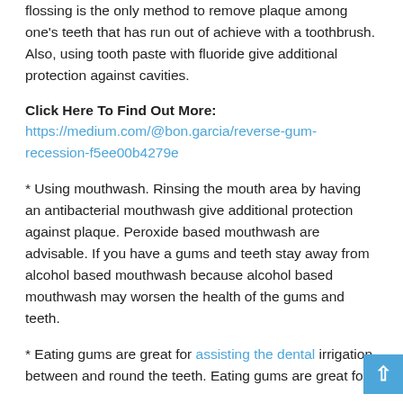flossing is the only method to remove plaque among one's teeth that has run out of achieve with a toothbrush. Also, using tooth paste with fluoride give additional protection against cavities.
Click Here To Find Out More:
https://medium.com/@bon.garcia/reverse-gum-recession-f5ee00b4279e
* Using mouthwash. Rinsing the mouth area by having an antibacterial mouthwash give additional protection against plaque. Peroxide based mouthwash are advisable. If you have a gums and teeth stay away from alcohol based mouthwash because alcohol based mouthwash may worsen the health of the gums and teeth.
* Eating gums are great for assisting the dental irrigation between and round the teeth. Eating gums are great for